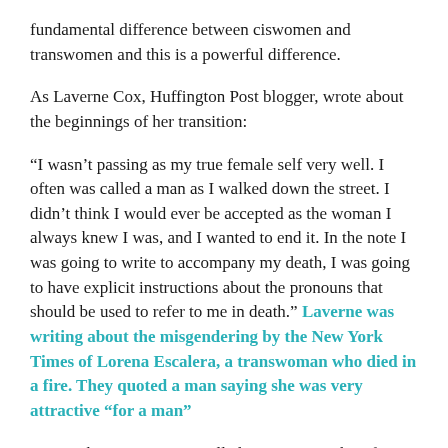fundamental difference between ciswomen and transwomen and this is a powerful difference.
As Laverne Cox, Huffington Post blogger, wrote about the beginnings of her transition:
“I wasn’t passing as my true female self very well. I often was called a man as I walked down the street. I didn’t think I would ever be accepted as the woman I always knew I was, and I wanted to end it. In the note I was going to write to accompany my death, I was going to have explicit instructions about the pronouns that should be used to refer to me in death.” Laverne was writing about the misgendering by the New York Times of Lorena Escalera, a transwoman who died in a fire. They quoted a man saying she was very attractive “for a man”
Women born women are called many names, but if